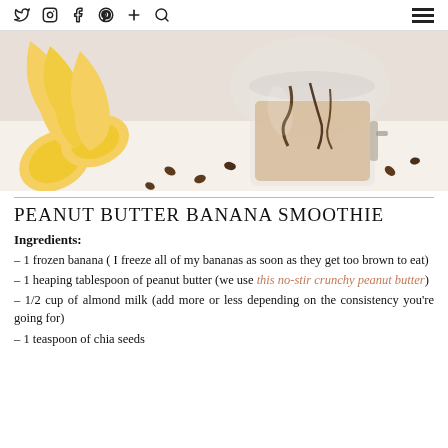social icons: twitter, instagram, facebook, pinterest, plus, search | hamburger menu
[Figure (photo): Overhead photo of a peanut butter banana smoothie in a glass jar with chocolate drizzle, surrounded by banana slices and coffee beans on a white surface.]
PEANUT BUTTER BANANA SMOOTHIE
Ingredients:
– 1 frozen banana ( I freeze all of my bananas as soon as they get too brown to eat)
– 1 heaping tablespoon of peanut butter (we use this no-stir crunchy peanut butter)
– 1/2 cup of almond milk (add more or less depending on the consistency you're going for)
– 1 teaspoon of chia seeds